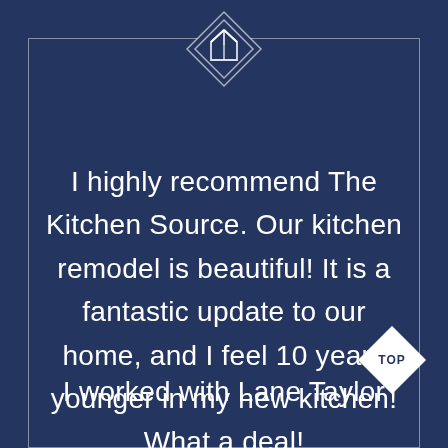[Figure (logo): Diamond-shaped logo with a house/architectural icon inside, white outline on dark blue background, centered at top of page]
I highly recommend The Kitchen Source. Our kitchen remodel is beautiful! It is a fantastic update to our home, and I feel 10 years younger in my new kitchen! What a deal!
I worked with Lane Taylor
[Figure (other): Diamond-shaped badge with 'TOP' text inside, white fill with dark text, positioned bottom right]